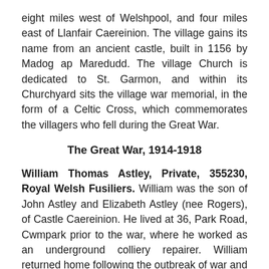eight miles west of Welshpool, and four miles east of Llanfair Caereinion. The village gains its name from an ancient castle, built in 1156 by Madog ap Maredudd. The village Church is dedicated to St. Garmon, and within its Churchyard sits the village war memorial, in the form of a Celtic Cross, which commemorates the villagers who fell during the Great War.
The Great War, 1914-1918
William Thomas Astley, Private, 355230, Royal Welsh Fusiliers. William was the son of John Astley and Elizabeth Astley (nee Rogers), of Castle Caereinion. He lived at 36, Park Road, Cwmpark prior to the war, where he worked as an underground colliery repairer. William returned home following the outbreak of war and enlisted